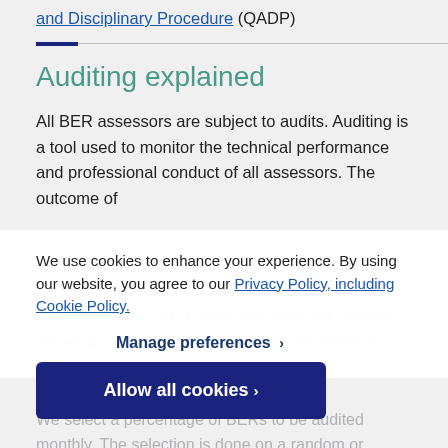and Disciplinary Procedure (QADP)
Auditing explained
All BER assessors are subject to audits. Auditing is a tool used to monitor the technical performance and professional conduct of all assessors. The outcome of the audit also provides feedback and learning to BER assessors. SEAI may also carry out routine follow-up audits to see if findings from previous audits have been adequately resolved.
We use cookies to enhance your experience. By using our website, you agree to our Privacy Policy, including Cookie Policy.
Manage preferences >
How BERs are selected
Allow all cookies >
We select a percentage of BERs to be audited monthly. The selection is done on a random or targeted basis.